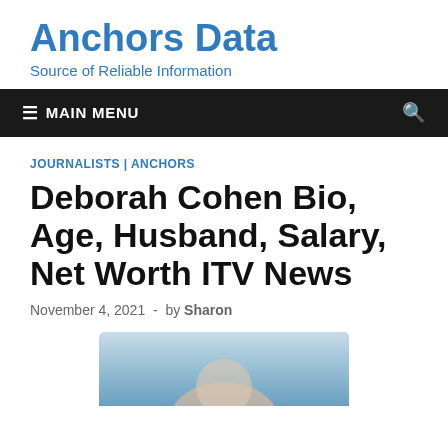Anchors Data
Source of Reliable Information
≡ MAIN MENU
JOURNALISTS | ANCHORS
Deborah Cohen Bio, Age, Husband, Salary, Net Worth ITV News
November 4, 2021 - by Sharon
[Figure (photo): Photo of Deborah Cohen, partially cropped at the bottom of the page]